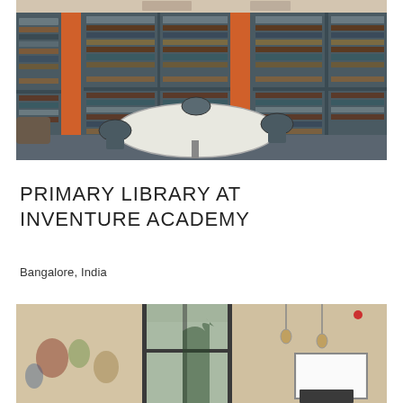[Figure (photo): Interior of a primary school library with orange and grey bookshelves filled with books, a curved white table in the center, and dark grey chairs around it.]
PRIMARY LIBRARY AT INVENTURE ACADEMY
Bangalore, India
[Figure (photo): Interior of a classroom or library space with large glass doors, murals on textured walls, pendant lights, and a white board visible in the background.]